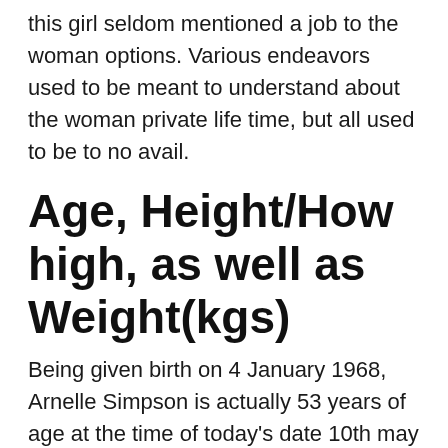this girl seldom mentioned a job to the woman options. Various endeavors used to be meant to understand about the woman private life time, but all used to be to no avail.
Age, Height/How high, as well as Weight(kgs)
Being given birth on 4 January 1968, Arnelle Simpson is actually 53 years of age at the time of today's date 10th may 2022. Your model peak is actually 1.78 letter high, as well as